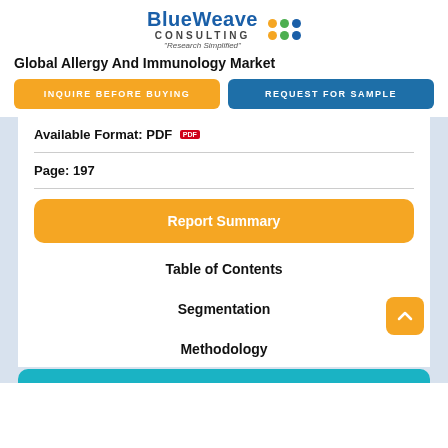BlueWeave Consulting - Research Simplified
Global Allergy And Immunology Market
INQUIRE BEFORE BUYING
REQUEST FOR SAMPLE
Available Format: PDF
Page: 197
Report Summary
Table of Contents
Segmentation
Methodology